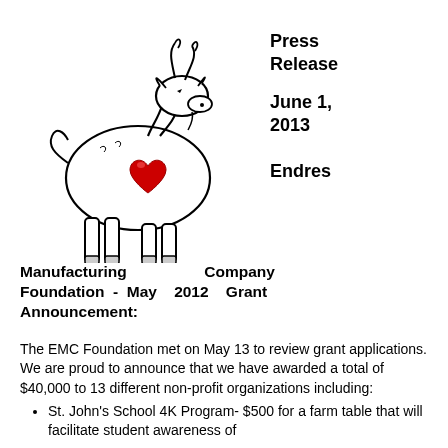[Figure (illustration): Line drawing of a goat with a red heart on its chest, facing right]
Press Release

June 1, 2013


Endres
Manufacturing Company Foundation - May 2012 Grant Announcement:
The EMC Foundation met on May 13 to review grant applications. We are proud to announce that we have awarded a total of $40,000 to 13 different non-profit organizations including:
St. John's School 4K Program- $500 for a farm table that will facilitate student awareness of